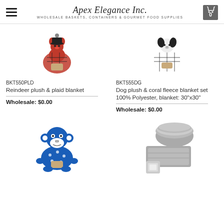Apex Elegance Inc. — WHOLESALE BASKETS, CONTAINERS & GOURMET FOOD SUPPLIES
[Figure (photo): Reindeer plush & plaid blanket product image]
BKT550PLD
Reindeer plush & plaid blanket
Wholesale: $0.00
[Figure (photo): Dog plush & coral fleece blanket set product image]
BKT555DG
Dog plush & coral fleece blanket set 100% Polyester, blanket: 30"x30"
Wholesale: $0.00
[Figure (photo): Blue monkey plush & blanket set product image]
[Figure (photo): Gray folded blanket product image]